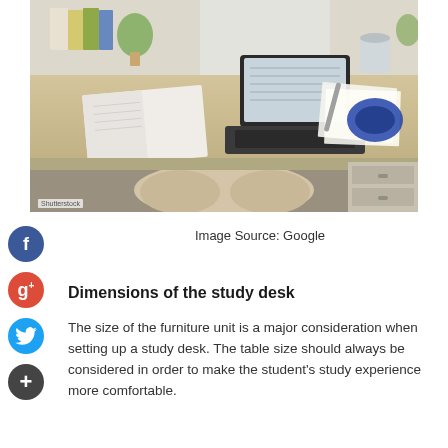[Figure (photo): A study desk with an open laptop, open book/notebook, papers, headphones, and desk accessories on a light wood surface, viewed from above at an angle. Person's legs visible underneath desk.]
Image Source: Google
Dimensions of the study desk
The size of the furniture unit is a major consideration when setting up a study desk. The table size should always be considered in order to make the student's study experience more comfortable.